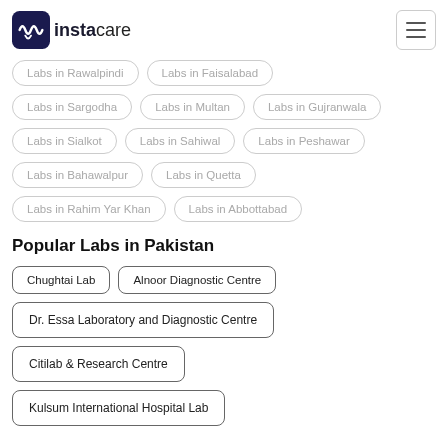instacare
Labs in Rawalpindi
Labs in Faisalabad
Labs in Sargodha
Labs in Multan
Labs in Gujranwala
Labs in Sialkot
Labs in Sahiwal
Labs in Peshawar
Labs in Bahawalpur
Labs in Quetta
Labs in Rahim Yar Khan
Labs in Abbottabad
Popular Labs in Pakistan
Chughtai Lab
Alnoor Diagnostic Centre
Dr. Essa Laboratory and Diagnostic Centre
Citilab & Research Centre
Kulsum International Hospital Lab